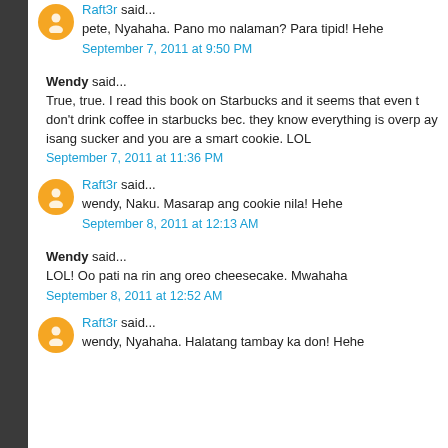Raft3r said...
pete, Nyahaha. Pano mo nalaman? Para tipid! Hehe
September 7, 2011 at 9:50 PM
Wendy said...
True, true. I read this book on Starbucks and it seems that even t don't drink coffee in starbucks bec. they know everything is overp ay isang sucker and you are a smart cookie. LOL
September 7, 2011 at 11:36 PM
Raft3r said...
wendy, Naku. Masarap ang cookie nila! Hehe
September 8, 2011 at 12:13 AM
Wendy said...
LOL! Oo pati na rin ang oreo cheesecake. Mwahaha
September 8, 2011 at 12:52 AM
Raft3r said...
wendy, Nyahaha. Halatang tambay ka don! Hehe